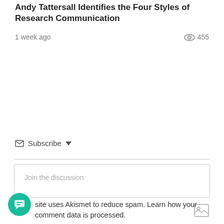Andy Tattersall Identifies the Four Styles of Research Communication
1 week ago   455
✉ Subscribe ▾
Join the discussion
1
site uses Akismet to reduce spam. Learn how your comment data is processed.